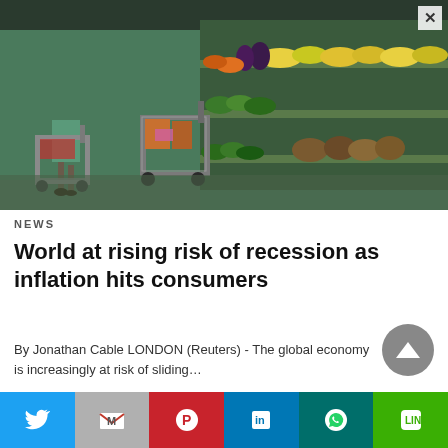[Figure (photo): Grocery store scene with shopping carts and produce aisle display showing vegetables and fruits]
NEWS
World at rising risk of recession as inflation hits consumers
By Jonathan Cable LONDON (Reuters) - The global economy is increasingly at risk of sliding…